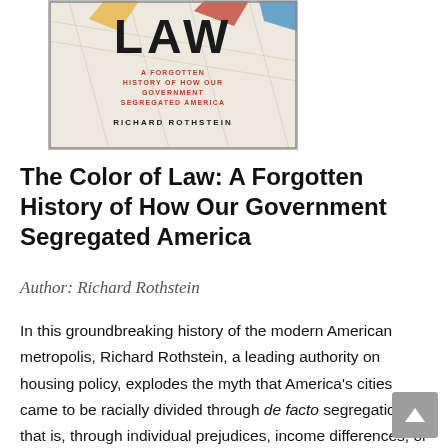[Figure (photo): Book cover of 'The Color of Law: A Forgotten History of How Our Government Segregated America' by Richard Rothstein. Shows the word LAW in large letters with colorful map-like decorations, subtitle in red text, and author name below.]
The Color of Law: A Forgotten History of How Our Government Segregated America
Author: Richard Rothstein
In this groundbreaking history of the modern American metropolis, Richard Rothstein, a leading authority on housing policy, explodes the myth that America's cities came to be racially divided through de facto segregation—that is, through individual prejudices, income differences, or the actions of private